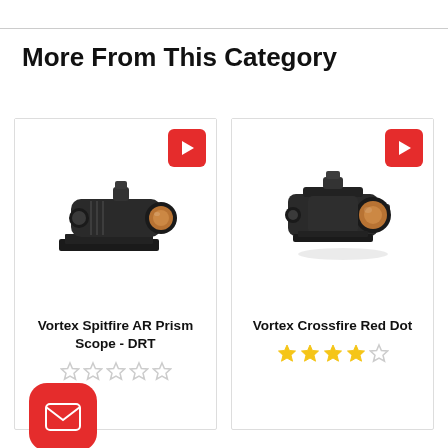More From This Category
[Figure (photo): Product card for Vortex Spitfire AR Prism Scope - DRT with play button icon, product photo of black rifle scope, star rating (0 stars), and red email button overlay]
[Figure (photo): Product card for Vortex Crossfire Red Dot with play button icon, product photo of black red dot sight, and star rating (4 stars filled, 1 empty)]